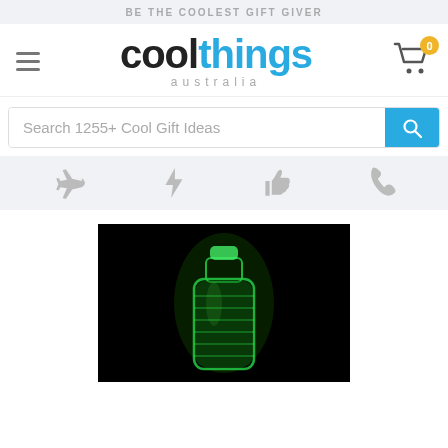BE THE COOLEST GIFT GIVER
[Figure (logo): Cool Things Australia logo with hamburger menu and cart icon showing 0 items]
[Figure (screenshot): Search bar with placeholder text 'Search 1255+ Cool Gift Ideas' and blue search button]
[Figure (infographic): Icon bar with four grey icons: airplane, lightning bolt, thumbs up, phone]
[Figure (photo): Product photo: glowing green water bottle on black background]